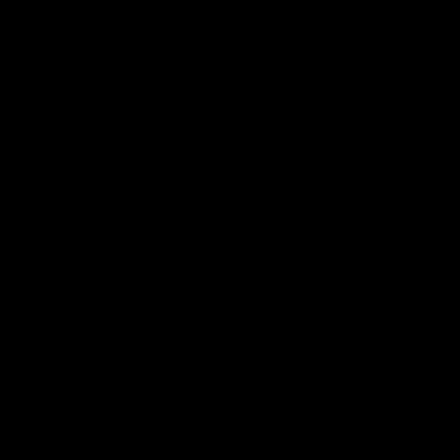[Figure (photo): A completely black image or very dark photograph with no discernible content visible.]